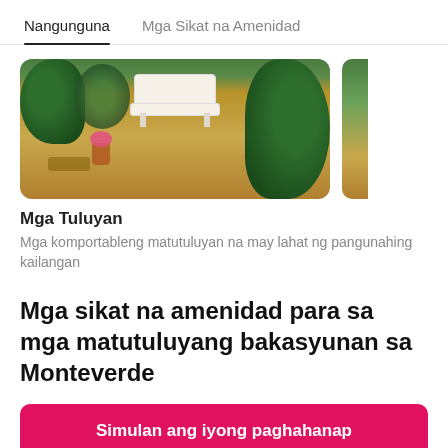Nangunguna	Mga Sikat na Amenidad
[Figure (photo): Photo of a garden with a white bench, gravel ground, and green shrubs. Partially visible second image on the right.]
Mga Tuluyan
Mga komportableng matutuluyan na may lahat ng pangunahing kailangan
Mga sikat na amenidad para sa mga matutuluyang bakasyunan sa Monteverde
Simulan ang iyong paghahanap